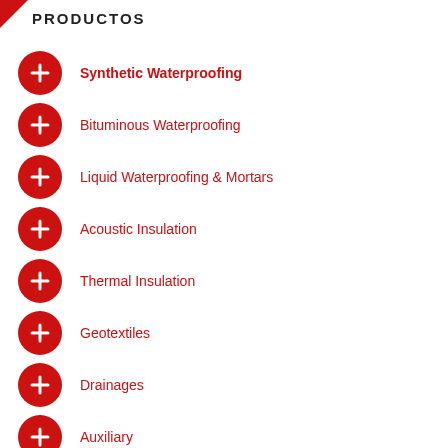PRODUCTOS
Synthetic Waterproofing
Bituminous Waterproofing
Liquid Waterproofing & Mortars
Acoustic Insulation
Thermal Insulation
Geotextiles
Drainages
Auxiliary